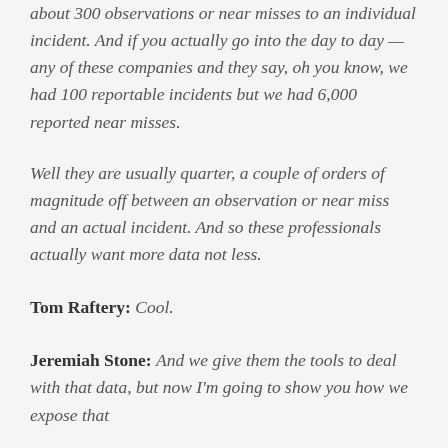about 300 observations or near misses to an individual incident. And if you actually go into the day to day — any of these companies and they say, oh you know, we had 100 reportable incidents but we had 6,000 reported near misses.
Well they are usually quarter, a couple of orders of magnitude off between an observation or near miss and an actual incident. And so these professionals actually want more data not less.
Tom Raftery: Cool.
Jeremiah Stone: And we give them the tools to deal with that data, but now I'm going to show you how we expose that